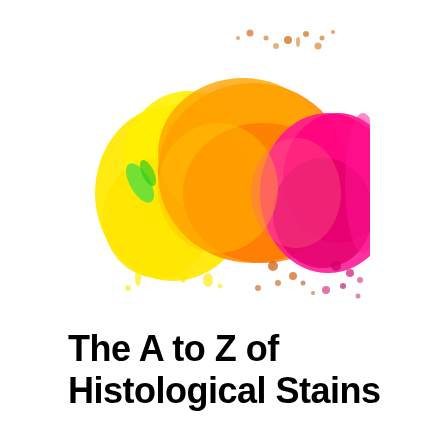[Figure (photo): A colorful paint splash image showing yellow, orange, magenta/pink, and green watercolor-like splashes on a white background, representing histological stains.]
The A to Z of Histological Stains